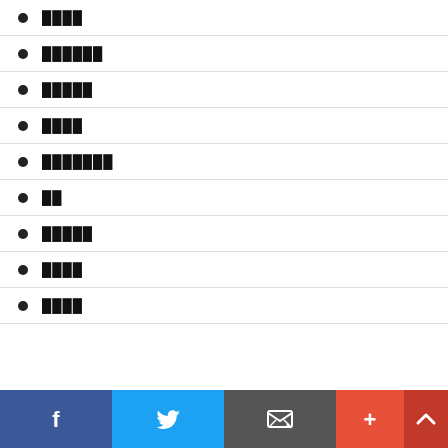████
██████
█████
████
███████
██
█████
████
████
Facebook Twitter Email More Up